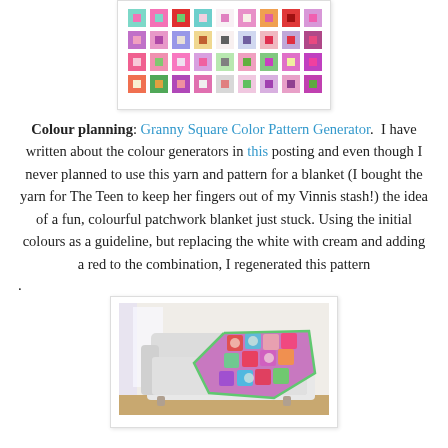[Figure (illustration): Granny square color pattern generator output — a grid of colorful squares with nested smaller squares, showing a patchwork color arrangement in pinks, purples, teals, reds, greens, and oranges on a light background.]
Colour planning: Granny Square Color Pattern Generator.  I have written about the colour generators in this posting and even though I never planned to use this yarn and pattern for a blanket (I bought the yarn for The Teen to keep her fingers out of my Vinnis stash!) the idea of a fun, colourful patchwork blanket just stuck. Using the initial colours as a guideline, but replacing the white with cream and adding a red to the combination, I regenerated this pattern
.
[Figure (photo): A colourful crocheted granny square blanket draped over a white sofa.]